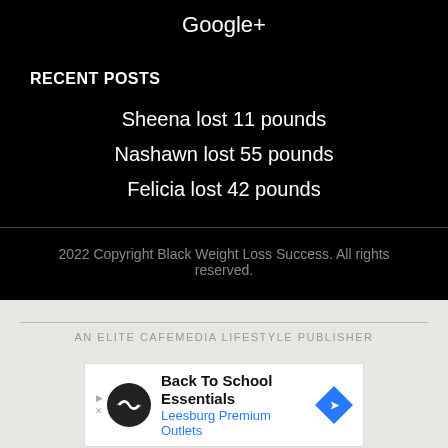Google+
RECENT POSTS
Sheena lost 11 pounds
Nashawn lost 55 pounds
Felicia lost 42 pounds
2022 Copyright Black Weight Loss Success. All rights reserved.
AN ELITE CAFEMEDIA LIFESTYLE PUBLISHER
[Figure (infographic): Advertisement banner for Back To School Essentials at Leesburg Premium Outlets with logo icon and blue diamond arrow]